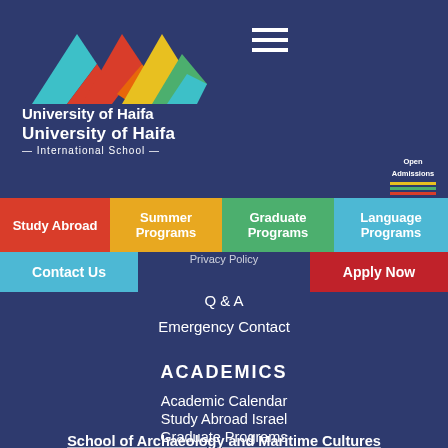[Figure (logo): University of Haifa International School logo with colorful geometric mountain/chevron shapes in teal, red, orange, yellow, and green]
University of Haifa
— International School —
[Figure (illustration): Hamburger menu icon (three horizontal lines)]
[Figure (illustration): Open Admissions graphic/text badge on right side]
Study Abroad
Summer Programs
Graduate Programs
Language Programs
Contact Us
Privacy Policy
Apply Now
Q & A
Emergency Contact
ACADEMICS
Academic Calendar
Study Abroad Israel
Graduate Programs
Masters in One Year
School of Archaeology and Maritime Cultures